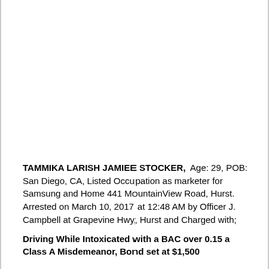TAMMIKA LARISH JAMIEE STOCKER, Age: 29, POB: San Diego, CA, Listed Occupation as marketer for Samsung and Home 441 MountainView Road, Hurst.
Arrested on March 10, 2017 at 12:48 AM by Officer J. Campbell at Grapevine Hwy, Hurst and Charged with;
Driving While Intoxicated with a BAC over 0.15 a Class A Misdemeanor, Bond set at $1,500